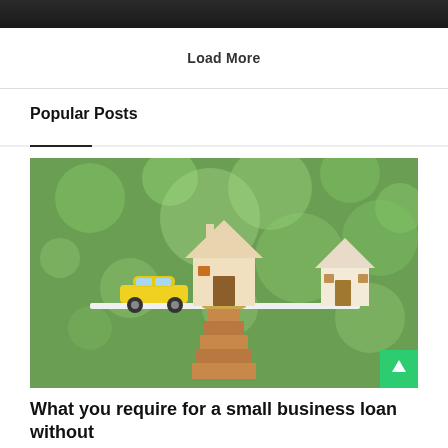[Figure (photo): Dark banner/header bar at top of page]
Load More
Popular Posts
[Figure (photo): Photo showing toy wooden houses and a yellow toy car balanced on a seesaw over stacked wooden blocks, with coins beneath the larger house. Green bokeh background. Represents property and asset balancing concept.]
What you require for a small business loan without